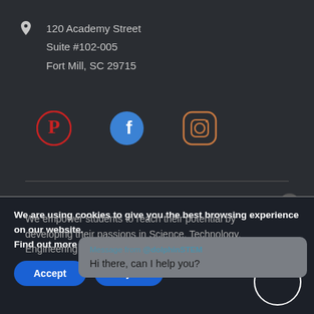120 Academy Street
Suite #102-005
Fort Mill, SC 29715
[Figure (infographic): Three social media icons: Pinterest (red circle with P), Facebook (blue circle with f), Instagram (orange rounded square with camera outline)]
We empower students to reach their potential by developing their passions in Science, Technology, Engineering, and Math.
Message from @dolphinSTEM
Hi there, can I help you?
We are using cookies to give you the best browsing experience on our website.
Find out more or adjust your settings.